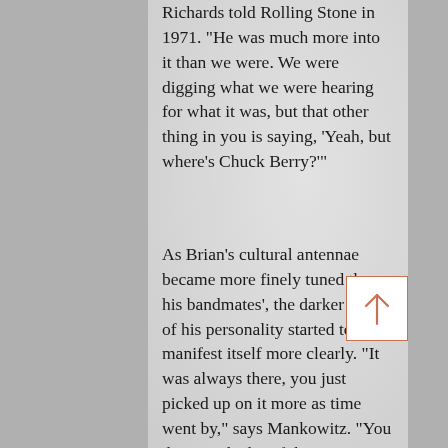Richards told Rolling Stone in 1971. "He was much more into it than we were. We were digging what we were hearing for what it was, but that other thing in you is saying, 'Yeah, but where's Chuck Berry?'"
As Brian's cultural antennae became more finely tuned than his bandmates', the darker side of his personality started to manifest itself more clearly. "It was always there, you just picked up on it more as time went by," says Mankowitz. "You dismissed a lot of things as vaga[ries] of the moment but as I spent mo[re] time with him I started to note a pattern. On one or two occasions in clubs he just snapped when he